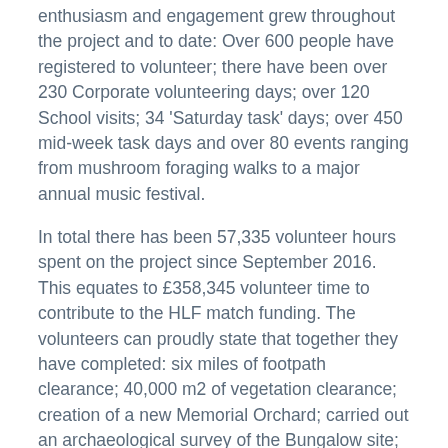enthusiasm and engagement grew throughout the project and to date: Over 600 people have registered to volunteer; there have been over 230 Corporate volunteering days; over 120 School visits; 34 'Saturday task' days; over 450 mid-week task days and over 80 events ranging from mushroom foraging walks to a major annual music festival.
In total there has been 57,335 volunteer hours spent on the project since September 2016. This equates to £358,345 volunteer time to contribute to the HLF match funding. The volunteers can proudly state that together they have completed: six miles of footpath clearance; 40,000 m2 of vegetation clearance; creation of a new Memorial Orchard; carried out an archaeological survey of the Bungalow site; located and restored 300m of 'lost' footpaths and reconstructed Lord Leverhulme's sundial on the Orchestra Lawn, which is now a lasting focal point for the volunteers to celebrate their significant contribution to this nationally significant garden